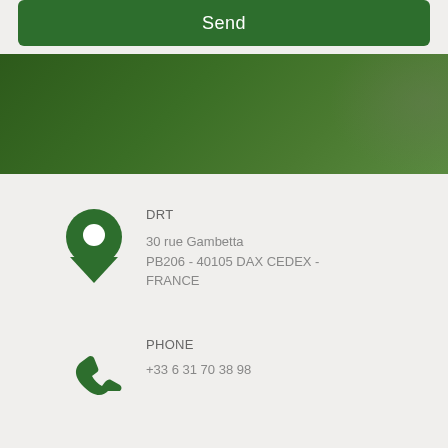Send
[Figure (photo): Dark green nature/forest background photo band]
DRT
30 rue Gambetta
PB206 - 40105 DAX CEDEX - FRANCE
PHONE
+33 6 31 70 38 98
EMAIL
drtsales@drt.fr